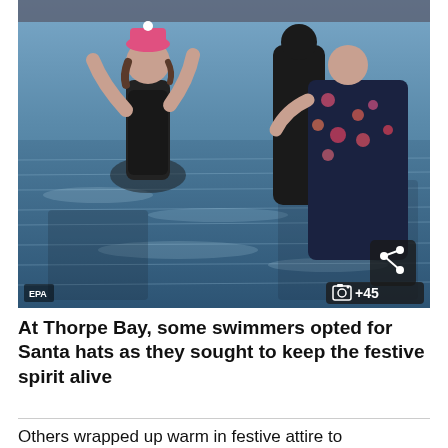[Figure (photo): Two people wading in water at Thorpe Bay. On the left, a person in a black swimsuit with arms raised, wearing a pink hat. On the right, a person in a floral dress holding a dark bag/wetsuit. The water has blue rippled tones. A PA logo is visible bottom-left, a share icon and photo count '+45' are visible bottom-right.]
At Thorpe Bay, some swimmers opted for Santa hats as they sought to keep the festive spirit alive
Others wrapped up warm in festive attire to